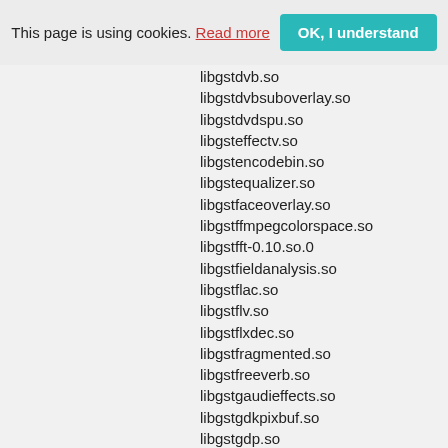This page is using cookies. Read more OK, I understand
libgstdvb.so
libgstdvbsuboverlay.so
libgstdvdspu.so
libgsteffectv.so
libgstencodebin.so
libgstequalizer.so
libgstfaceoverlay.so
libgstffmpegcolorspace.so
libgstfft-0.10.so.0
libgstfieldanalysis.so
libgstflac.so
libgstflv.so
libgstflxdec.so
libgstfragmented.so
libgstfreeverb.so
libgstgaudieffects.so
libgstgdkpixbuf.so
libgstgdp.so
libgstgeometrictransform.so
libgstgio.so
libgsthdvparse.so
libgsticydemux.so
libgstid3demux.so
libgstid3tag.so
libgstimagefreeze.so
libgstinterfaces-0.10.so.0
libgstinterlace.so
libgstinterleave.so